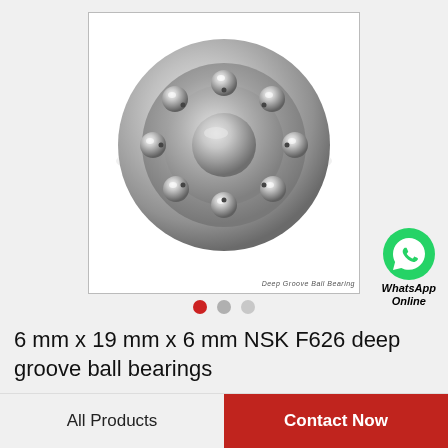[Figure (photo): NSK F626 deep groove ball bearing shown from front angle, metallic silver color, open type with visible steel balls]
[Figure (logo): WhatsApp green circle icon with phone handset symbol, with text 'WhatsApp Online' below]
6 mm x 19 mm x 6 mm NSK F626 deep groove ball bearings
All Products
Contact Now